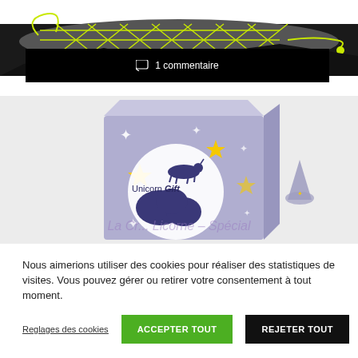[Figure (photo): Photo of a dark/black background with a gray object featuring yellow-green diamond/cross-hatch pattern stitching and a yellow-green cord with a ball end.]
1 commentaire
[Figure (photo): Photo of a light lavender/purple gift box labeled 'Unicorn Gift' with stars and a tree silhouette, next to a purple unicorn figurine, on a light gray background. Watermark text reads: La Cr... Licorne – Spécial]
Nous aimerions utiliser des cookies pour réaliser des statistiques de visites. Vous pouvez gérer ou retirer votre consentement à tout moment.
Reglages des cookies
ACCEPTER TOUT
REJETER TOUT